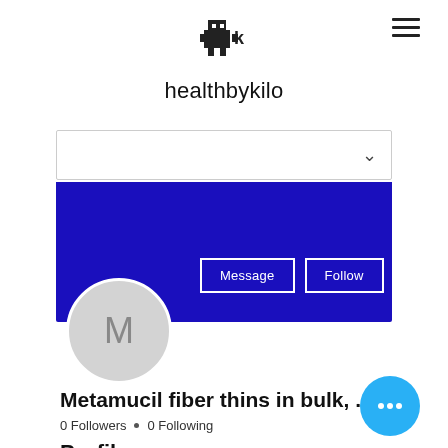[Figure (logo): Small pixel-art robot/character logo icon for healthbykilo website]
healthbykilo
[Figure (screenshot): Dropdown selector bar with chevron, followed by dark blue profile banner with Message and Follow buttons and three-dot menu, and circular avatar with letter M]
Metamucil fiber thins in bulk, ...
0 Followers • 0 Following
Profile
[Figure (other): Cyan/blue floating action button with three horizontal dots]